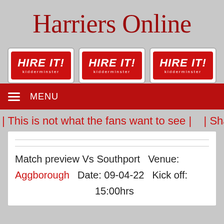Harriers Online
[Figure (logo): Three red 'Hire It! Kidderminster' logo badges side by side]
MENU
| This is not what the fans want to see |    | Sha
Match preview Vs Southport   Venue:
Aggborough   Date: 09-04-22   Kick off:
15:00hrs